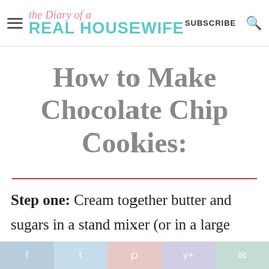The Diary of a Real Housewife — SUBSCRIBE
How to Make Chocolate Chip Cookies:
Step one: Cream together butter and sugars in a stand mixer (or in a large bowl with a hand mixer) until light and
f  t  p  yt  email